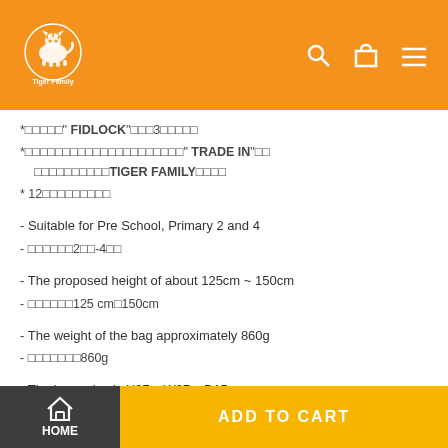Tiger Family
*□□□□□" FIDLOCK"□□□3□□□□□
*□□□□□□□□□□□□□□□□□□□□□" TRADE IN"□□ □□□□□□□□□□TIGER FAMILY□□□□
* 12□□□□□□□□□
- Suitable for Pre School, Primary 2 and 4
- □□□□□□2□□-4□□
- The proposed height of about 125cm ~ 150cm
- □□□□□□125 cm□150cm
- The weight of the bag approximately 860g
- □□□□□□□860g
- The inner size is H37 x W27 x D15 cm
HOME | ADD TO CART